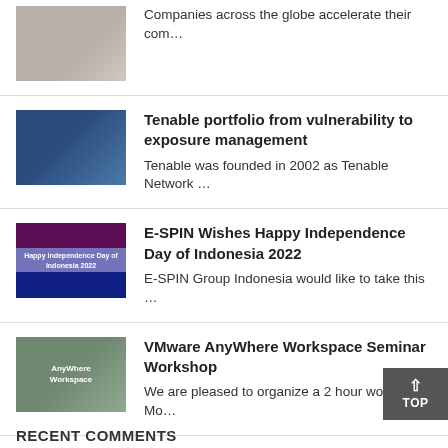Companies across the globe accelerate their com…
Tenable portfolio from vulnerability to exposure management — Tenable was founded in 2002 as Tenable Network …
E-SPIN Wishes Happy Independence Day of Indonesia 2022 — E-SPIN Group Indonesia would like to take this …
VMware AnyWhere Workspace Seminar Workshop — We are pleased to organize a 2 hour workshop Mo…
The Examples of Application of Fog Computing — Fog computing is an extension of cloud computin…
RECENT COMMENTS